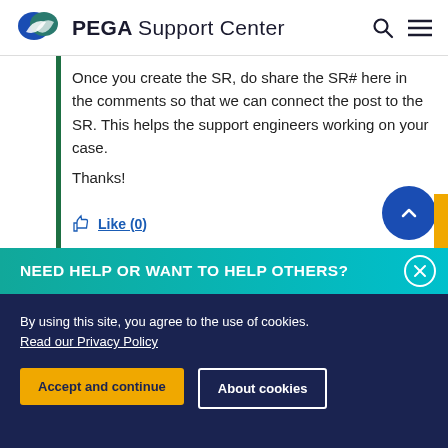PEGA Support Center
Once you create the SR, do share the SR# here in the comments so that we can connect the post to the SR. This helps the support engineers working on your case.

Thanks!
Like (0)
NEED HELP OR WANT TO HELP OTHERS?
By using this site, you agree to the use of cookies. Read our Privacy Policy
Accept and continue
About cookies